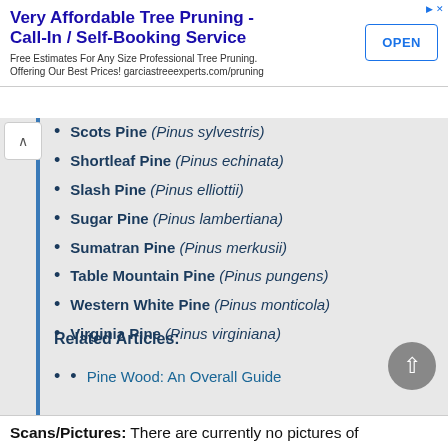[Figure (other): Advertisement banner for tree pruning service with OPEN button]
Scots Pine (Pinus sylvestris)
Shortleaf Pine (Pinus echinata)
Slash Pine (Pinus elliottii)
Sugar Pine (Pinus lambertiana)
Sumatran Pine (Pinus merkusii)
Table Mountain Pine (Pinus pungens)
Western White Pine (Pinus monticola)
Virginia Pine (Pinus virginiana)
Related Articles:
Pine Wood: An Overall Guide
Scans/Pictures: There are currently no pictures of